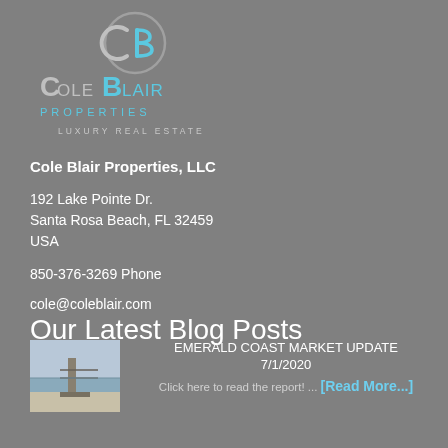[Figure (logo): Cole Blair Properties logo with CB monogram, text COLE BLAIR PROPERTIES LUXURY REAL ESTATE in grey and cyan/blue colors]
Cole Blair Properties, LLC
192 Lake Pointe Dr.
Santa Rosa Beach, FL 32459
USA
850-376-3269 Phone
cole@coleblair.com
Our Latest Blog Posts
[Figure (photo): Thumbnail photo of a beach boardwalk/pier with ocean and sky]
EMERALD COAST MARKET UPDATE
7/1/2020
Click here to read the report! ... [Read More...]